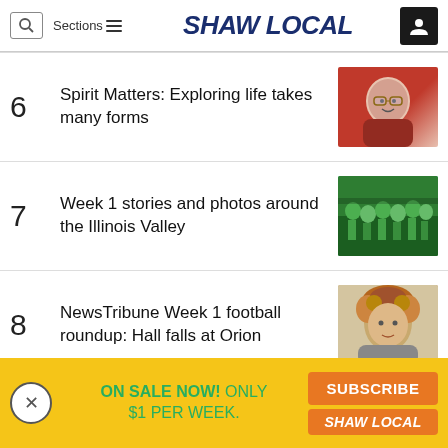Shaw Local — Search | Sections | User icon
6  Spirit Matters: Exploring life takes many forms
7  Week 1 stories and photos around the Illinois Valley
8  NewsTribune Week 1 football roundup: Hall falls at Orion
ON SALE NOW! ONLY $1 PER WEEK. SUBSCRIBE SHAW LOCAL